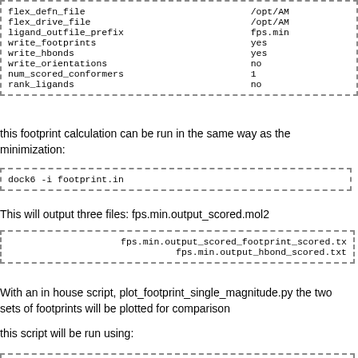flex_defn_file    /opt/AM
flex_drive_file   /opt/AM
ligand_outfile_prefix   fps.min
write_footprints   yes
write_hbonds   yes
write_orientations   no
num_scored_conformers   1
rank_ligands   no
this footprint calculation can be run in the same way as the minimization:
dock6 -i footprint.in
This will output three files: fps.min.output_scored.mol2
fps.min.output_scored_footprint_scored.tx
fps.min.output_hbond_scored.txt
With an in house script, plot_footprint_single_magnitude.py the two sets of footprints will be plotted for comparison
this script will be run using: